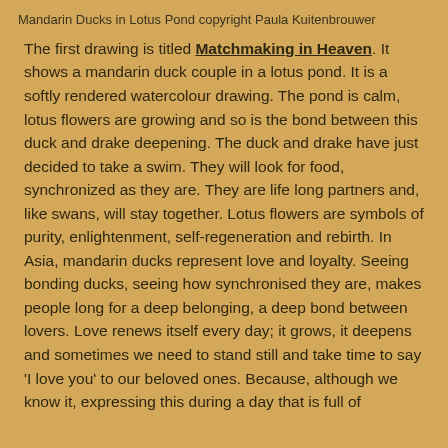Mandarin Ducks in Lotus Pond copyright Paula Kuitenbrouwer
The first drawing is titled Matchmaking in Heaven. It shows a mandarin duck couple in a lotus pond. It is a softly rendered watercolour drawing. The pond is calm, lotus flowers are growing and so is the bond between this duck and drake deepening. The duck and drake have just decided to take a swim. They will look for food, synchronized as they are. They are life long partners and, like swans, will stay together. Lotus flowers are symbols of purity, enlightenment, self-regeneration and rebirth. In Asia, mandarin ducks represent love and loyalty. Seeing bonding ducks, seeing how synchronised they are, makes people long for a deep belonging, a deep bond between lovers. Love renews itself every day; it grows, it deepens and sometimes we need to stand still and take time to say 'I love you' to our beloved ones. Because, although we know it, expressing this during a day that is full of